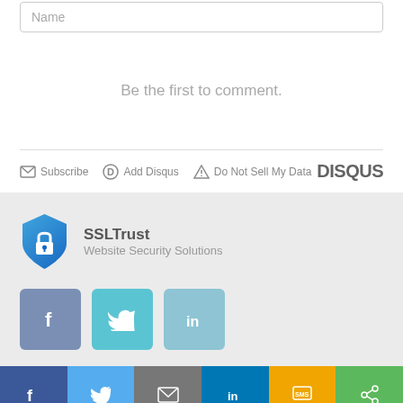Name
Be the first to comment.
Subscribe  Add Disqus  Do Not Sell My Data  DISQUS
[Figure (logo): SSLTrust shield logo with padlock icon in blue gradient]
SSLTrust
Website Security Solutions
[Figure (infographic): Three social media icon buttons: Facebook (blue-gray), Twitter (teal), LinkedIn (light blue)]
[Figure (infographic): Bottom share bar with six colored sections: Facebook (dark blue), Twitter (light blue), Email (gray), LinkedIn (blue), SMS (yellow/orange), Share (green)]